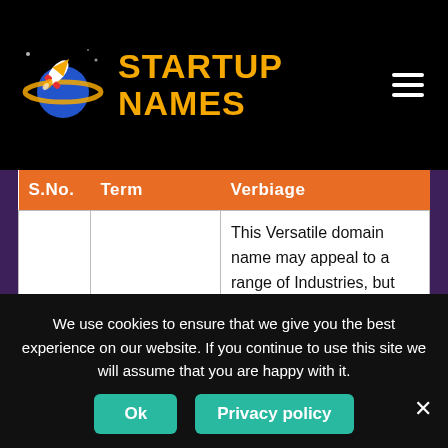STARTUP NAMES
| S.No. | Term | Verbiage |
| --- | --- | --- |
| 1 | Industry Category | This Versatile domain name may appeal to a range of Industries, but most specifically, the following:
– Engineering
– Finance
– Crypto
– Medical |
We use cookies to ensure that we give you the best experience on our website. If you continue to use this site we will assume that you are happy with it.
Ok   Privacy policy